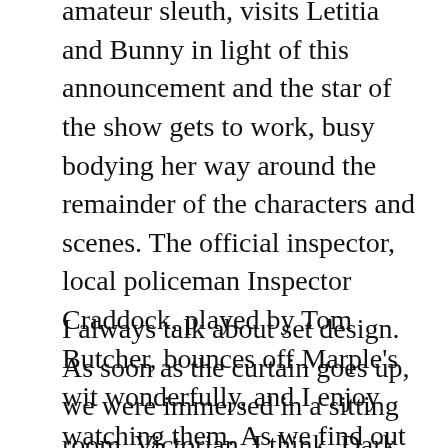amateur sleuth, visits Letitia and Bunny in light of this announcement and the star of the show gets to work, busy bodying her way around the remainder of the characters and scenes. The official inspector, local policeman Inspector Craddock, played by Tom Butcher, bounces off Marple's wit wonderfully, and I enjoy watching them. As we find out more about each character, everyone becomes a suspect, which was good fun. I must have changed my opinion half a dozen times, but I did manage to work it out just before the big reveal (promise!).
I always talk about set design. As soon as the curtain goes up, we were immersed in a sitting room, Victorian, I think. Dark wood furniture, green walls, a picture rail with countryside scenes. The set doesn't change and for a whodunit, it doesn't need to. Not my style, but totally in keeping with the story and I even found myself looking around for clues.